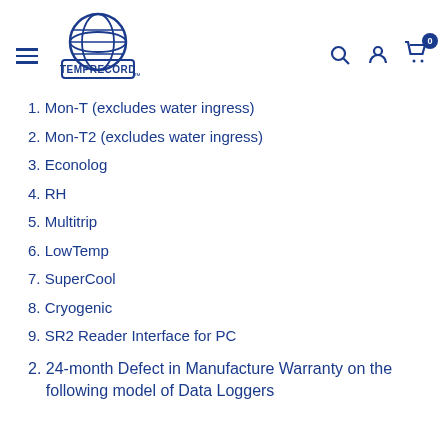TEMPRECORD
1. Mon-T (excludes water ingress)
2. Mon-T2 (excludes water ingress)
3. Econolog
4. RH
5. Multitrip
6. LowTemp
7. SuperCool
8. Cryogenic
9. SR2 Reader Interface for PC
2. 24-month Defect in Manufacture Warranty on the following model of Data Loggers